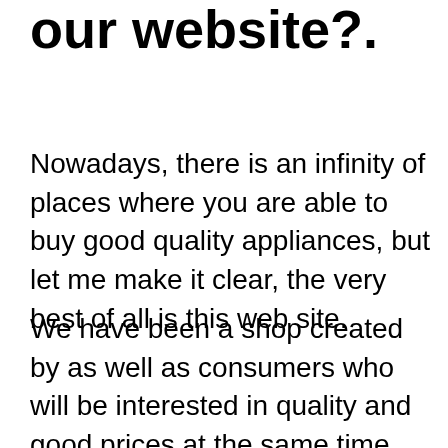our website?.
Nowadays, there is an infinity of places where you are able to buy good quality appliances, but let me make it clear, the very best of all is this web site.
We have been a shop created by as well as consumers who will be interested in quality and good prices at the same time. We consider the wide selection of brands in the marketplace, and that not all have the same guarantees of reliability, therefore we concentrate on offering equipment from reputable companies.